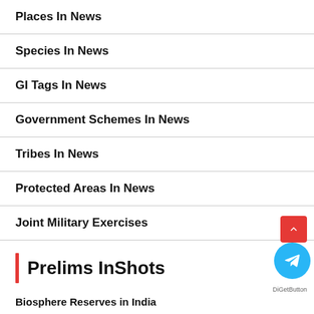Places In News
Species In News
GI Tags In News
Government Schemes In News
Tribes In News
Protected Areas In News
Joint Military Exercises
Prelims InShots
Biosphere Reserves in India
Biodiversity Hotspots and Biodiversity Hopespots in India
India